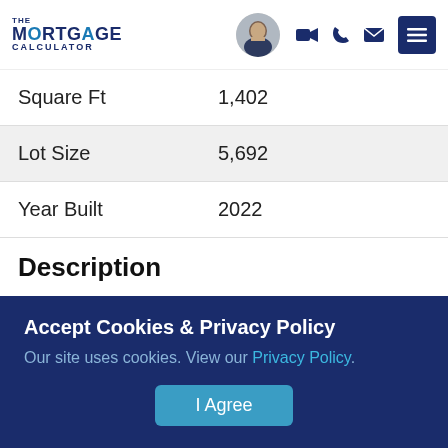The Mortgage Calculator — navigation header with logo, avatar, video/phone/email icons, and menu button
| Property | Value |
| --- | --- |
| Square Ft | 1,402 |
| Lot Size | 5,692 |
| Year Built | 2022 |
Description
Ocala's Finest Resort-Style Living! Welcome to Ocala
Accept Cookies & Privacy Policy
Our site uses cookies. View our Privacy Policy.
I Agree